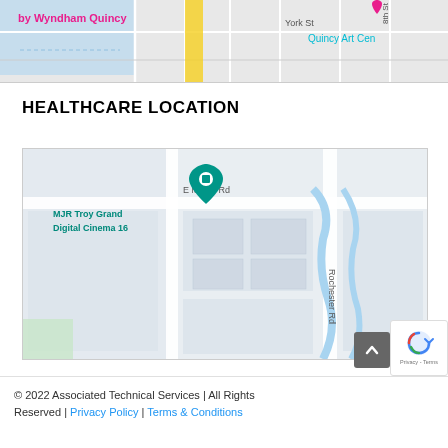[Figure (map): Partial Google Maps view showing streets including York St and 8th St, with labels 'by Wyndham Quincy' in pink/magenta and 'Quincy Art Cen' in teal, and a pink map pin marker. Blue water area visible on left side.]
HEALTHCARE LOCATION
[Figure (map): Google Maps view showing E Maple Rd and Rochester Rd intersection area in Troy, Michigan. A teal map pin is visible with label 'MJR Troy Grand Digital Cinema 16'. Streets and city blocks shown in light gray.]
© 2022 Associated Technical Services | All Rights Reserved | Privacy Policy | Terms & Conditions